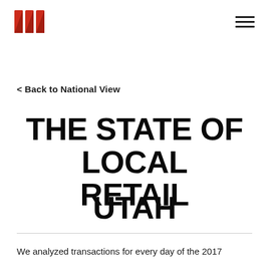[Logo] [Hamburger menu]
< Back to National View
THE STATE OF LOCAL RETAIL
UTAH
We analyzed transactions for every day of the 2017